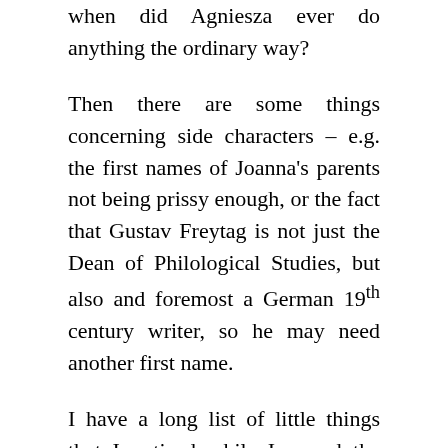when did Agniesza ever do anything the ordinary way?
Then there are some things concerning side characters – e.g. the first names of Joanna's parents not being prissy enough, or the fact that Gustav Freytag is not just the Dean of Philological Studies, but also and foremost a German 19th century writer, so he may need another first name.
I have a long list of little things that I noticed while I reread the script. Rereading and writing up an exact scene overview (people, location, content, critique) alone took me a week and even though I'm the one who wrote this thing,